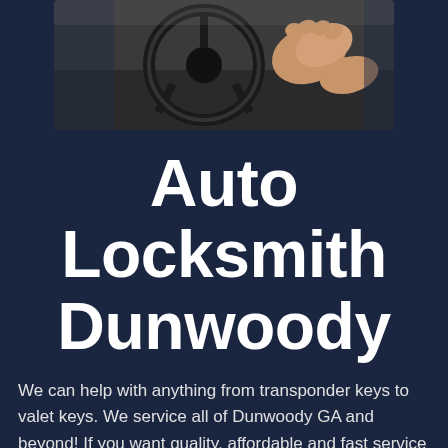[Figure (photo): A person's hand on a car steering wheel, close-up interior shot]
Auto Locksmith Dunwoody
We can help with anything from transponder keys to valet keys. We service all of Dunwoody GA and beyond! If you want quality, affordable and fast service you have found the best locksmith company in Atlanta and the Dunwoody GA area. We have techs all over the